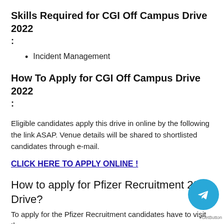Skills Required for CGI Off Campus Drive 2022 :
Incident Management
How To Apply for CGI Off Campus Drive 2022 :
Eligible candidates apply this drive in online by the following the link ASAP. Venue details will be shared to shortlisted candidates through e-mail.
CLICK HERE TO APPLY ONLINE !
How to apply for Pfizer Recruitment 2022 Drive?
To apply for the Pfizer Recruitment candidates have to visit the